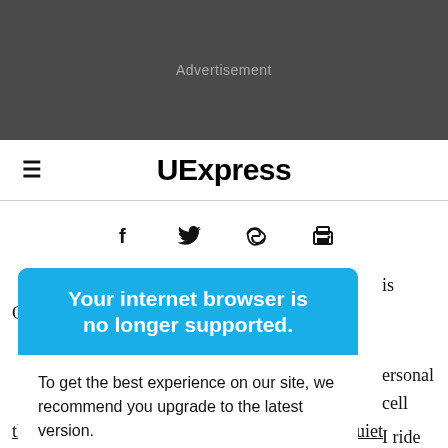[Figure (other): Dark gray advertisement banner with 'Advertisement' label in gray text]
UExpress
[Figure (other): Social sharing icons row: Facebook (f), Twitter (bird), link/copy icon, print icon]
Your internet browser is no longer supported. To get the best experience on our site, we recommend you upgrade to the latest version.
is Commuter" ...personal cell ...I ride public ...ay, and most of ...st want a quiet